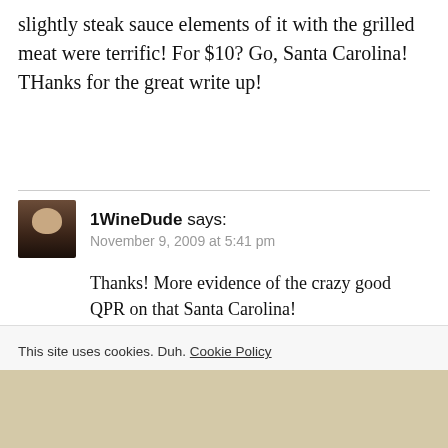slightly steak sauce elements of it with the grilled meat were terrific! For $10? Go, Santa Carolina! THanks for the great write up!
1WineDude says:
November 9, 2009 at 5:41 pm

Thanks! More evidence of the crazy good QPR on that Santa Carolina!
Phil says:
This site uses cookies. Duh. Cookie Policy
Close and accept